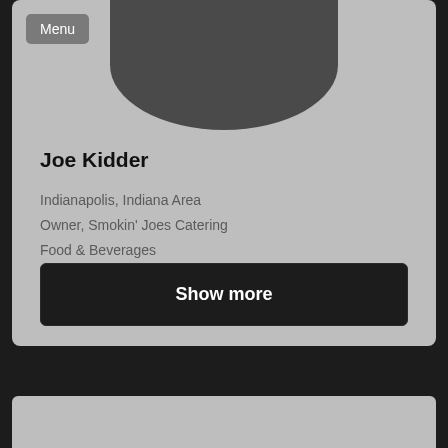[Figure (screenshot): LinkedIn-style profile card screenshot showing user profile photo area (silhouette), name, location, job title, and industry, with a 'Show more' button, on a dark background]
Menu
Joe Kidder
Indianapolis, Indiana Area
Owner, Smokin' Joes Catering
Food & Beverages
Show more